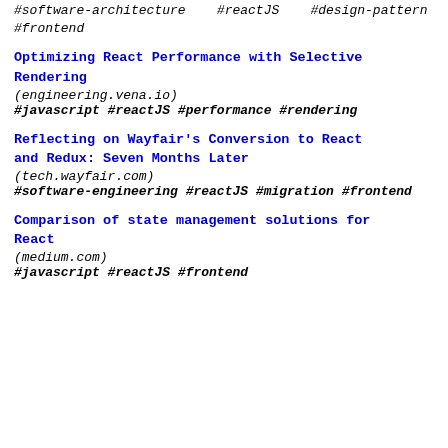#software-architecture   #reactJS   #design-pattern
#frontend
Optimizing React Performance with Selective Rendering
(engineering.vena.io)
#javascript #reactJS #performance #rendering
Reflecting on Wayfair's Conversion to React and Redux: Seven Months Later
(tech.wayfair.com)
#software-engineering #reactJS #migration #frontend
Comparison of state management solutions for React
(medium.com)
#javascript #reactJS #frontend